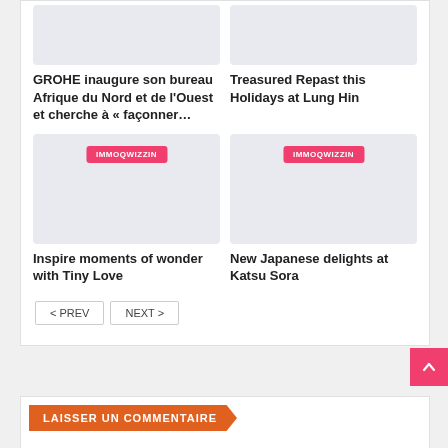[Figure (photo): Top left card image placeholder, gray background]
[Figure (photo): Top right card image placeholder, gray background]
GROHE inaugure son bureau Afrique du Nord et de l'Ouest et cherche à « façonner…
Treasured Repast this Holidays at Lung Hin
[Figure (photo): Bottom left card image with IMMOQWIZZIN badge, gray background]
[Figure (photo): Bottom right card image with IMMOQWIZZIN badge, gray background]
Inspire moments of wonder with Tiny Love
New Japanese delights at Katsu Sora
< PREV
NEXT >
LAISSER UN COMMENTAIRE